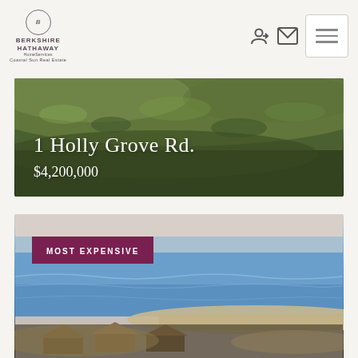[Figure (logo): Berkshire Hathaway HomeServices Coastal Sun Real Estate logo with circular emblem]
[Figure (photo): Aerial view of rolling green grass field/dune landscape for property at 1 Holly Grove Rd.]
1 Holly Grove Rd.
$4,200,000
[Figure (photo): Aerial coastal photo showing ocean, beach shoreline, and beachfront homes with 'MOST EXPENSIVE' badge overlay]